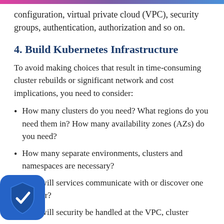configuration, virtual private cloud (VPC), security groups, authentication, authorization and so on.
4. Build Kubernetes Infrastructure
To avoid making choices that result in time-consuming cluster rebuilds or significant network and cost implications, you need to consider:
How many clusters do you need? What regions do you need them in? How many availability zones (AZs) do you need?
How many separate environments, clusters and namespaces are necessary?
How will services communicate with or discover one another?
How will security be handled at the VPC, cluster...